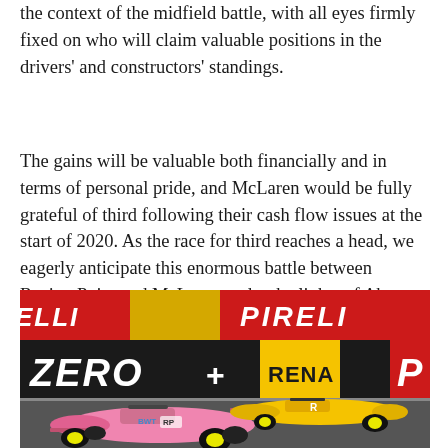the context of the midfield battle, with all eyes firmly fixed on who will claim valuable positions in the drivers' and constructors' standings.
The gains will be valuable both financially and in terms of personal pride, and McLaren would be fully grateful of third following their cash flow issues at the start of 2020. As the race for third reaches a head, we eagerly anticipate this enormous battle between Racing Point and McLaren under the lights of Abu Dhabi.
[Figure (photo): Formula 1 racing cars on track — a pink Racing Point car in the foreground and a yellow Renault car behind, with Pirelli Zero advertising boards visible in the background.]